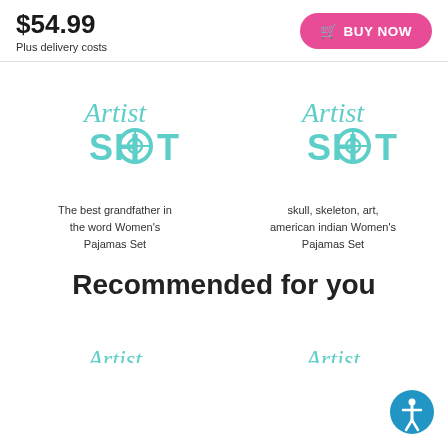$54.99
Plus delivery costs
[Figure (other): BUY NOW button with shopping cart icon, pink rounded rectangle]
[Figure (logo): Artist Shot logo - teal cursive and bold text]
The best grandfather in the word Women's Pajamas Set
[Figure (logo): Artist Shot logo - teal cursive and bold text]
skull, skeleton, art, american indian Women's Pajamas Set
Recommended for you
[Figure (logo): Artist Shot logo - teal cursive and bold text (partial)]
[Figure (logo): Artist Shot logo - teal cursive and bold text (partial)]